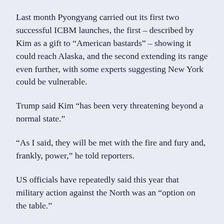Last month Pyongyang carried out its first two successful ICBM launches, the first – described by Kim as a gift to “American bastards” – showing it could reach Alaska, and the second extending its range even further, with some experts suggesting New York could be vulnerable.
Trump said Kim “has been very threatening beyond a normal state.”
“As I said, they will be met with the fire and fury and, frankly, power,” he told reporters.
US officials have repeatedly said this year that military action against the North was an “option on the table.”